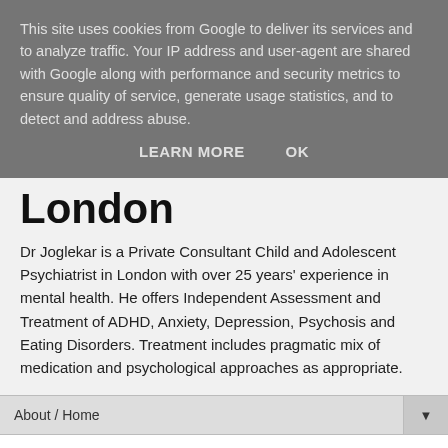This site uses cookies from Google to deliver its services and to analyze traffic. Your IP address and user-agent are shared with Google along with performance and security metrics to ensure quality of service, generate usage statistics, and to detect and address abuse.
LEARN MORE    OK
London
Dr Joglekar is a Private Consultant Child and Adolescent Psychiatrist in London with over 25 years' experience in mental health. He offers Independent Assessment and Treatment of ADHD, Anxiety, Depression, Psychosis and Eating Disorders. Treatment includes pragmatic mix of medication and psychological approaches as appropriate.
About / Home
Fees For Private Child And Adolescent Psychiatry Assessment